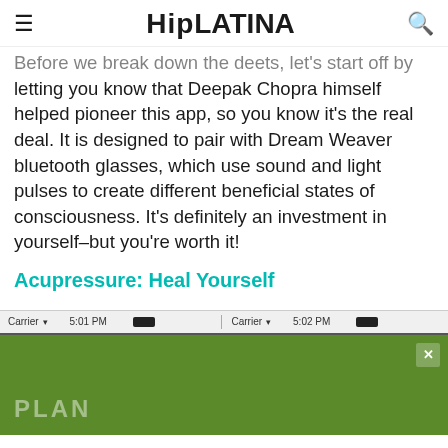HipLATINA
Before we break down the deets, let's start off by letting you know that Deepak Chopra himself helped pioneer this app, so you know it's the real deal. It is designed to pair with Dream Weaver bluetooth glasses, which use sound and light pulses to create different beneficial states of consciousness. It's definitely an investment in yourself–but you're worth it!
Acupressure: Heal Yourself
[Figure (screenshot): Mobile status bar showing Carrier, 5:01 PM and 5:02 PM with battery icons]
[Figure (infographic): Green advertisement overlay with close button (X) and text PLAN]